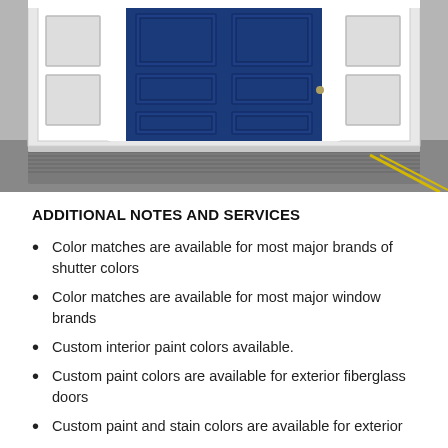[Figure (photo): Photograph of a blue fiberglass exterior door with white frame and sidelights, sitting on a gray mat in a warehouse/showroom setting.]
ADDITIONAL NOTES AND SERVICES
Color matches are available for most major brands of shutter colors
Color matches are available for most major window brands
Custom interior paint colors available.
Custom paint colors are available for exterior fiberglass doors
Custom paint and stain colors are available for exterior